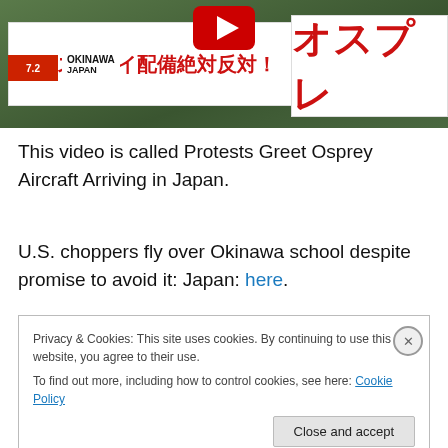[Figure (screenshot): Video thumbnail showing protesters holding banners with Japanese text in red on white background, with OKINAWA JAPAN location overlay and YouTube play button overlay]
This video is called Protests Greet Osprey Aircraft Arriving in Japan.
U.S. choppers fly over Okinawa school despite promise to avoid it: Japan: here.
Privacy & Cookies: This site uses cookies. By continuing to use this website, you agree to their use.
To find out more, including how to control cookies, see here: Cookie Policy
Close and accept